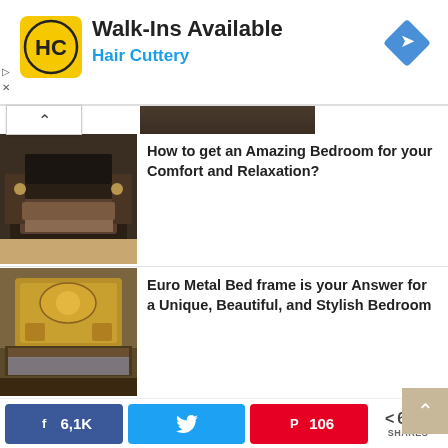[Figure (screenshot): Hair Cuttery advertisement banner with logo, 'Walk-Ins Available' headline, and navigation icon]
How to get an Amazing Bedroom for your Comfort and Relaxation?
[Figure (photo): Dark-toned modern bedroom interior photo]
Euro Metal Bed frame is your Answer for a Unique, Beautiful, and Stylish Bedroom
[Figure (photo): Ornate gold European style bed frame bedroom photo]
Bathroom Curtains, How to Choose them and also keep the Bathroom Clean and Healthy
[Figure (photo): Colorful patchwork bathroom curtains photo]
6,1K  [Twitter share]  106  < 6,2K SHARES